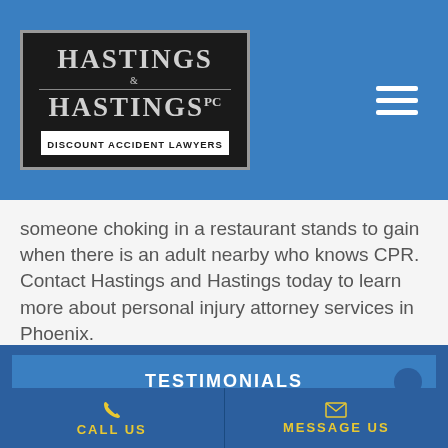[Figure (logo): Hastings & Hastings PC Discount Accident Lawyers logo on dark background]
someone choking in a restaurant stands to gain when there is an adult nearby who knows CPR. Contact Hastings and Hastings today to learn more about personal injury attorney services in Phoenix.
TESTIMONIALS
HANDWRITTEN REVIEWS
CALL US
MESSAGE US